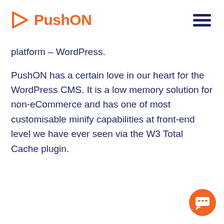[Figure (logo): PushON logo with orange play button triangle icon and orange bold text 'PushON']
[Figure (other): Hamburger menu icon: three dark navy horizontal bars stacked]
platform – WordPress.
PushON has a certain love in our heart for the WordPress CMS. It is a low memory solution for non-eCommerce and has one of most customisable minify capabilities at front-end level we have ever seen via the W3 Total Cache plugin.
[Figure (other): Orange circular chat/support button in bottom-right corner with white speech bubble icon]